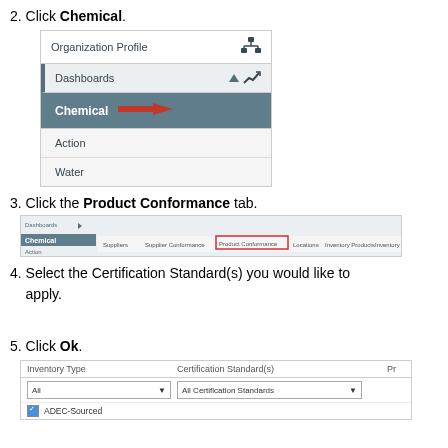2. Click Chemical.
[Figure (screenshot): Navigation menu showing Organization Profile, Dashboards, Chemical (highlighted with red arrow), Action, and Water menu items]
3. Click the Product Conformance tab.
[Figure (screenshot): Screenshot of Chemical dashboard tab bar with Product Conformance tab highlighted in red box]
4. Select the Certification Standard(s) you would like to apply.
5. Click Ok.
[Figure (screenshot): Dialog showing Inventory Type dropdown set to All, Certification Standard(s) dropdown set to All Certification Standards, with ADEC-Sourced checkbox visible]